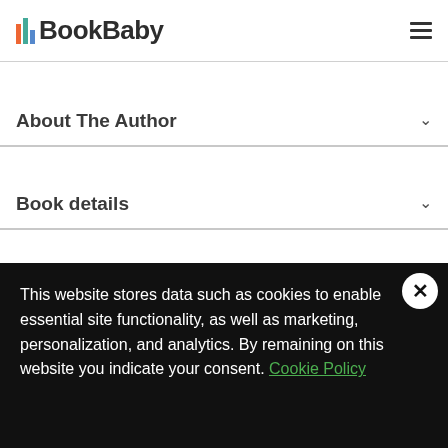BookBaby
About The Author
Book details
Be the first to know about new
This website stores data such as cookies to enable essential site functionality, as well as marketing, personalization, and analytics. By remaining on this website you indicate your consent. Cookie Policy